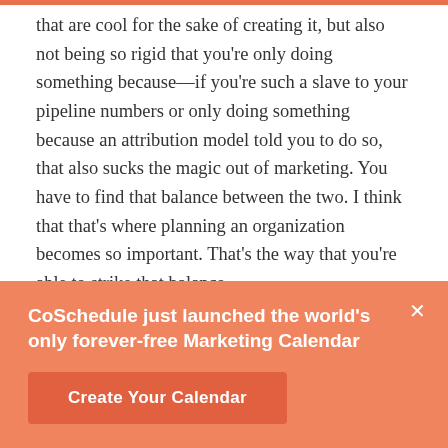that are cool for the sake of creating it, but also not being so rigid that you're only doing something because—if you're such a slave to your pipeline numbers or only doing something because an attribution model told you to do so, that also sucks the magic out of marketing. You have to find that balance between the two. I think that that's where planning an organization becomes so important. That's the way that you're able to strike that balance.
Nathan: Definitely. You mentioned working with
CoSchedule just launched the world's only forever-free Marketing Calendar
Create Your Calendar